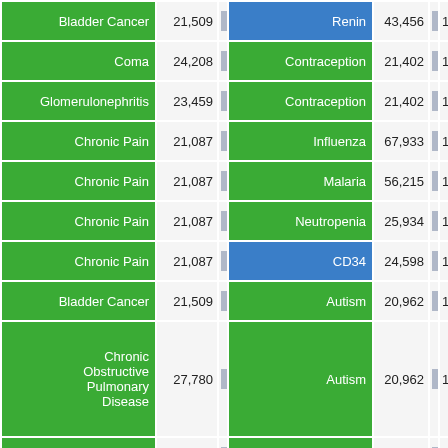| Disease (Left) | Count (Left) | Disease (Right) | Count (Right) |  |
| --- | --- | --- | --- | --- |
| Bladder Cancer | 21,509 | Renin | 43,456 | 1 |
| Coma | 24,208 | Contraception | 21,402 | 1 |
| Glomerulonephritis | 23,459 | Contraception | 21,402 | 1 |
| Chronic Pain | 21,087 | Influenza | 67,933 | 1 |
| Chronic Pain | 21,087 | Malaria | 56,215 | 1 |
| Chronic Pain | 21,087 | Neutropenia | 25,934 | 1 |
| Chronic Pain | 21,087 | CD34 | 24,598 | 1 |
| Bladder Cancer | 21,509 | Autism | 20,962 | 1 |
| Chronic Obstructive Pulmonary Disease | 27,780 | Autism | 20,962 | 1 |
| Colon Cancer | 30,064 | Autism | 20,962 | 1 |
| Dyspnea | 24,781 | Autism | 20,962 | 1 |